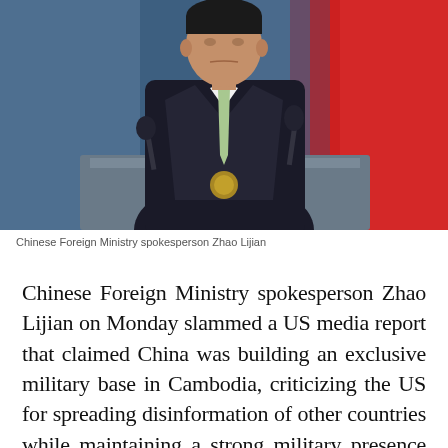[Figure (photo): Chinese Foreign Ministry spokesperson Zhao Lijian standing at a podium, wearing a dark suit and light green tie, with blue and red flag backgrounds visible behind him and microphones in front]
Chinese Foreign Ministry spokesperson Zhao Lijian
Chinese Foreign Ministry spokesperson Zhao Lijian on Monday slammed a US media report that claimed China was building an exclusive military base in Cambodia, criticizing the US for spreading disinformation of other countries while maintaining a strong military presence around the world and flexing its military muscle.